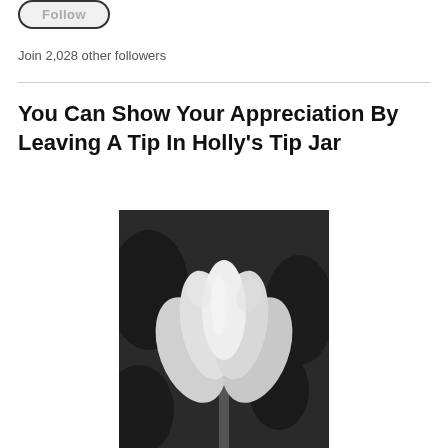[Figure (other): Follow button UI element, rounded pill shape with 'Follow' text]
Join 2,028 other followers
You Can Show Your Appreciation By Leaving A Tip In Holly's Tip Jar
[Figure (photo): Black and white photograph of a tulip flower in bloom against a dark background]